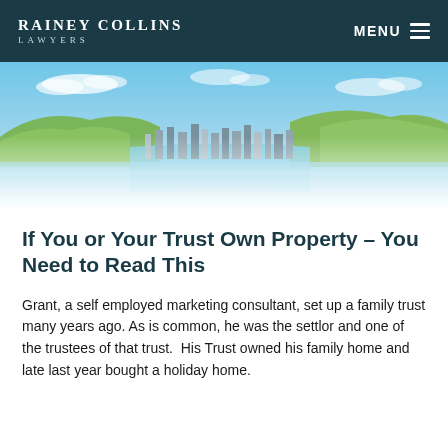RAINEY COLLINS LAWYERS | MENU
[Figure (photo): Aerial/waterfront panoramic view of Wellington, New Zealand, showing green hills, city buildings along the harbour, and blue water under a partly cloudy sky. Image fades to white at the bottom.]
If You or Your Trust Own Property – You Need to Read This
Grant, a self employed marketing consultant, set up a family trust many years ago. As is common, he was the settlor and one of the trustees of that trust.  His Trust owned his family home and late last year bought a holiday home.